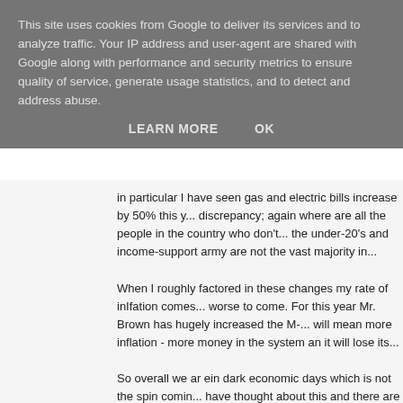This site uses cookies from Google to deliver its services and to analyze traffic. Your IP address and user-agent are shared with Google along with performance and security metrics to ensure quality of service, generate usage statistics, and to detect and address abuse.
LEARN MORE    OK
in particular I have seen gas and electric bills increase by 50% this y... discrepancy; again where are all the people in the country who don't... the under-20's and income-support army are not the vast majority in...
When I roughly factored in these changes my rate of inIfation comes... worse to come. For this year Mr. Brown has hugely increased the M-... will mean more inflation - more money in the system an it will lose its...
So overall we ar ein dark economic days which is not the spin comin... have thought about this and there are two obvious reasons, both of ... focus on in the next couple of months:
1 - The government is bending all the rules to demonstrate its econo... these cheats can be exposed.
2 - The government needs an artificially low level of inflation to keep... allow for greater money supply to feed its vast spending projects a...